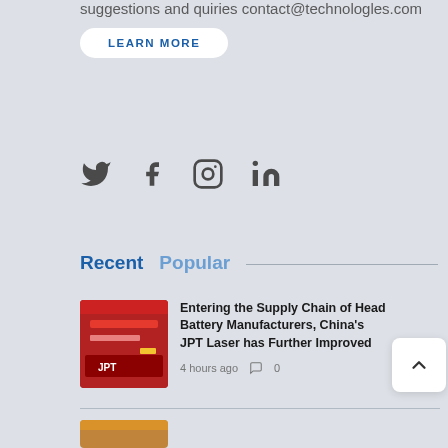suggestions and quiries contact@technologles.com
LEARN MORE
[Figure (infographic): Social media icons: Twitter, Facebook, Instagram, LinkedIn]
Recent   Popular
Entering the Supply Chain of Head Battery Manufacturers, China's JPT Laser has Further Improved
4 hours ago   0
[Figure (photo): JPT laser device photo thumbnail, red and black device with JPT branding]
[Figure (photo): Partial thumbnail of second article, warm tones]